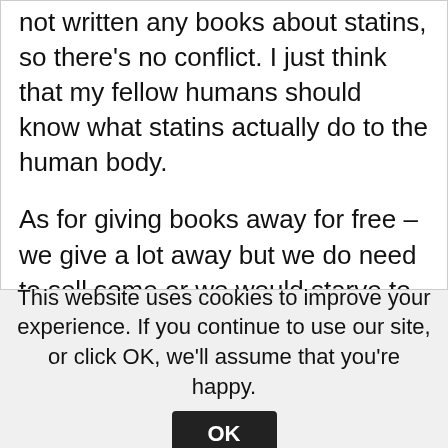not written any books about statins, so there's no conflict. I just think that my fellow humans should know what statins actually do to the human body.
As for giving books away for free – we give a lot away but we do need to sell some or we would starve to death! I don't know what your job is but why don't you do it for free? It continually baffles me that people think that authors should do their job for free but all other jobs should get paid?!
Seek medical advice by all means but the point
This website uses cookies to improve your experience. If you continue to use our site, or click OK, we'll assume that you're happy.